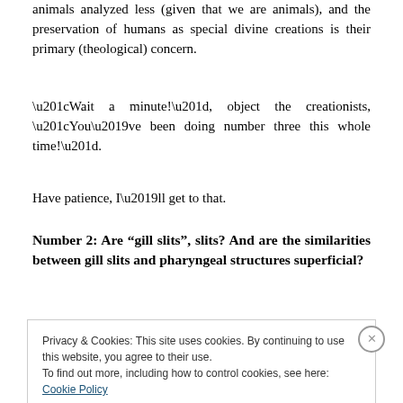animals analyzed less (given that we are animals), and the preservation of humans as special divine creations is their primary (theological) concern.
“Wait a minute!”, object the creationists, “You’ve been doing number three this whole time!”.
Have patience, I’ll get to that.
Number 2: Are “gill slits”, slits? And are the similarities between gill slits and pharyngeal structures superficial?
Privacy & Cookies: This site uses cookies. By continuing to use this website, you agree to their use.
To find out more, including how to control cookies, see here: Cookie Policy